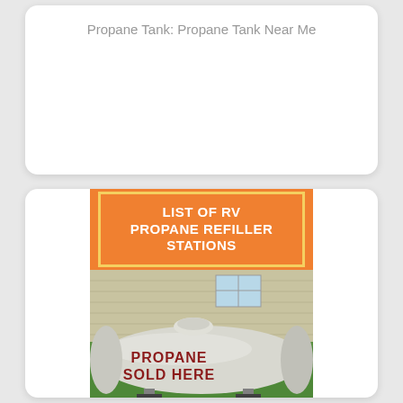Propane Tank: Propane Tank Near Me
[Figure (photo): Orange banner reading 'LIST OF RV PROPANE REFILLER STATIONS' with yellow border, above a photo of a large white propane tank with 'PROPANE SOLD HERE' text in red lettering, sitting on grass in front of a building]
LIST OF RV PROPANE REFILLER STATIONS